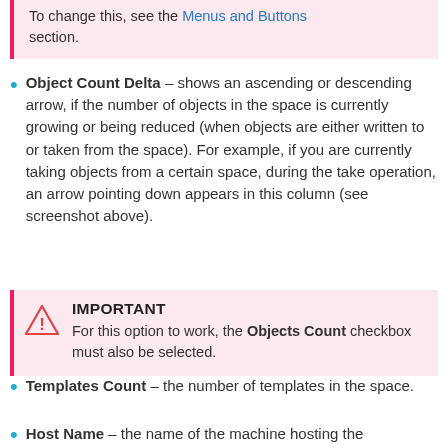To change this, see the Menus and Buttons section.
Object Count Delta – shows an ascending or descending arrow, if the number of objects in the space is currently growing or being reduced (when objects are either written to or taken from the space). For example, if you are currently taking objects from a certain space, during the take operation, an arrow pointing down appears in this column (see screenshot above).
IMPORTANT
For this option to work, the Objects Count checkbox must also be selected.
Templates Count – the number of templates in the space.
Host Name – the name of the machine hosting the